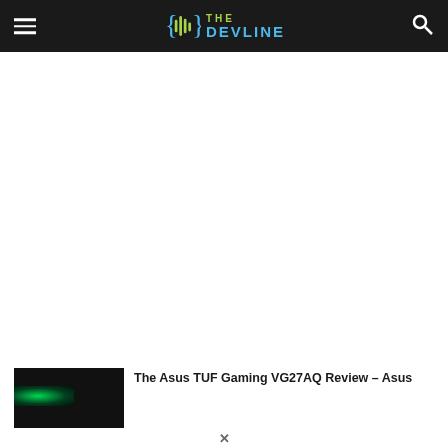THE DEVLINE
[Figure (screenshot): Large white advertisement/content area in the middle of the page]
The Asus TUF Gaming VG27AQ Review – Asus